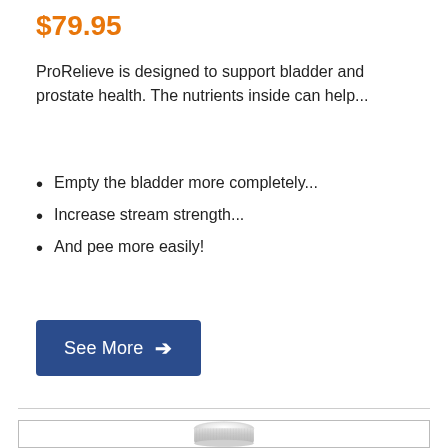$79.95
ProRelieve is designed to support bladder and prostate health. The nutrients inside can help...
Empty the bladder more completely...
Increase stream strength...
And pee more easily!
[Figure (other): A dark blue button labeled 'See More' with a right-pointing arrow]
[Figure (photo): A white plastic supplement bottle cap/lid viewed from above, showing ridged edges, inside a bordered box]